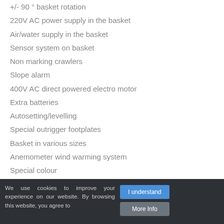+/- 90 ° basket rotation
220V AC power supply in the basket
Air/water supply in the basket
Sensor system on basket
Non marking crawlers
Slope alarm
400V AC direct powered electro motor
Extra batteries
Autosetting/levelling
Special outrigger footplates
Basket in various sizes
Anemometer wind warming system
Special colour
We use cookies to improve your experience on our website. By browsing this website, you agree to